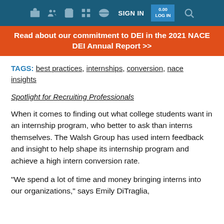SIGN IN
Read about our commitment to DEI in the 2021 NACE DEI Annual Report >>
TAGS: best practices, internships, conversion, nace insights
Spotlight for Recruiting Professionals
When it comes to finding out what college students want in an internship program, who better to ask than interns themselves. The Walsh Group has used intern feedback and insight to help shape its internship program and achieve a high intern conversion rate.
"We spend a lot of time and money bringing interns into our organizations," says Emily DiTraglia,